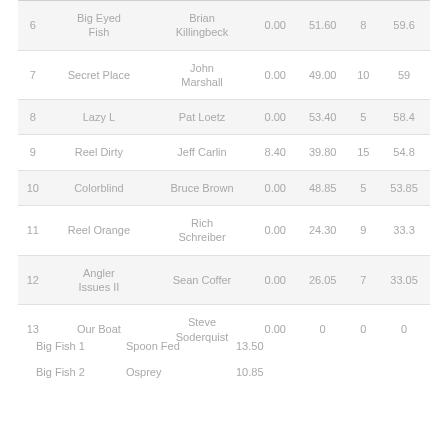| # | Boat | Captain | Col4 | Col5 | Col6 | Total |
| --- | --- | --- | --- | --- | --- | --- |
| 6 | Big Eyed Fish | Brian Killingbeck | 0.00 | 51.60 | 8 | 59.6 |
| 7 | Secret Place | John Marshall | 0.00 | 49.00 | 10 | 59 |
| 8 | Lazy L | Pat Loetz | 0.00 | 53.40 | 5 | 58.4 |
| 9 | Reel Dirty | Jeff Carlin | 8.40 | 39.80 | 15 | 54.8 |
| 10 | Colorblind | Bruce Brown | 0.00 | 48.85 | 5 | 53.85 |
| 11 | Reel Orange | Rich Schreiber | 0.00 | 24.30 | 9 | 33.3 |
| 12 | Angler Issues II | Sean Coffer | 0.00 | 26.05 | 7 | 33.05 |
| 13 | Our Boat | Steve Soderquist | 0.00 | 0 | 0 | 0 |
Big Fish 1   Spoon Fed   13.50
Big Fish 2   Osprey   10.85